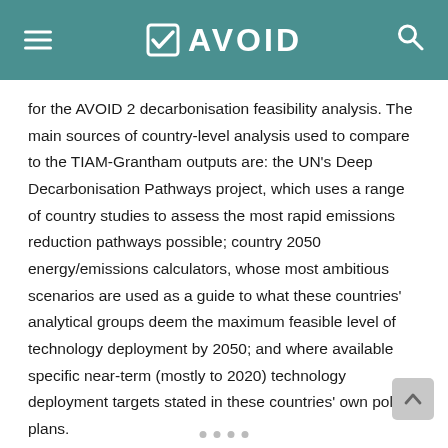AVOID
for the AVOID 2 decarbonisation feasibility analysis. The main sources of country-level analysis used to compare to the TIAM-Grantham outputs are: the UN's Deep Decarbonisation Pathways project, which uses a range of country studies to assess the most rapid emissions reduction pathways possible; country 2050 energy/emissions calculators, whose most ambitious scenarios are used as a guide to what these countries' analytical groups deem the maximum feasible level of technology deployment by 2050; and where available specific near-term (mostly to 2020) technology deployment targets stated in these countries' own policy plans.